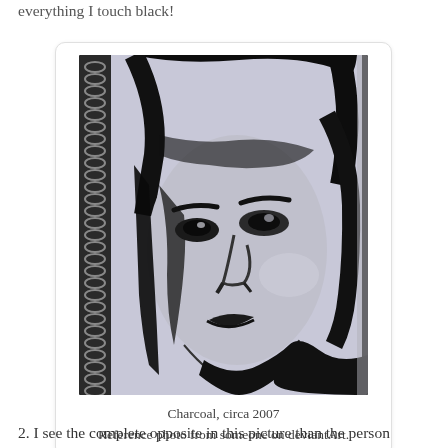everything I touch black!
[Figure (illustration): A charcoal portrait drawing of a person's face, rendered on spiral-bound sketchbook paper. The drawing is high contrast black and white, showing a close-up face with dark hair and intense expression. Circa 2007.]
Charcoal, circa 2007
Reference photo from someone on deviantArt.
2. I see the complete opposite in this picture than the person